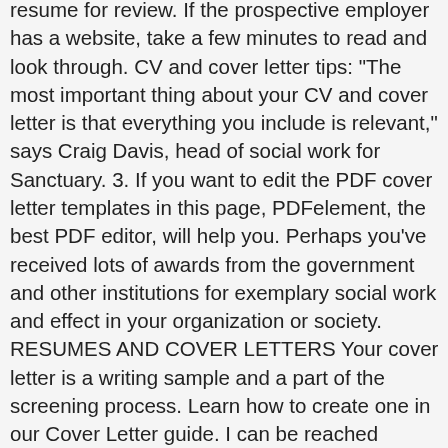resume for review. If the prospective employer has a website, take a few minutes to read and look through. CV and cover letter tips: "The most important thing about your CV and cover letter is that everything you include is relevant," says Craig Davis, head of social work for Sanctuary. 3. If you want to edit the PDF cover letter templates in this page, PDFelement, the best PDF editor, will help you. Perhaps you've received lots of awards from the government and other institutions for exemplary social work and effect in your organization or society. RESUMES AND COVER LETTERS Your cover letter is a writing sample and a part of the screening process. Learn how to create one in our Cover Letter guide. I can be reached directly at either my email address or phone number included. The cover letter will generally be your first contact with a prospective employer. Be sure the file name includes your name. In many offices and formal establishments, PDF is the standard document format. It doesn't matter what level you're at in your career—to get noticed by potential employers, your